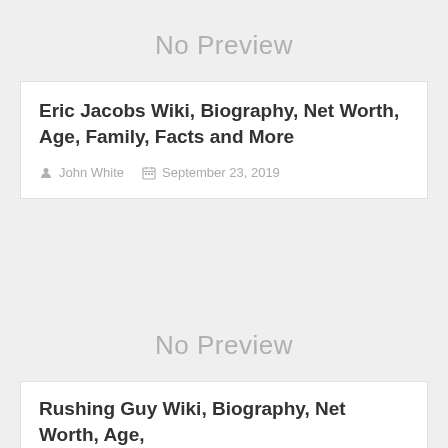[Figure (other): No Preview placeholder image - grey background with 'No Preview' text]
Eric Jacobs Wiki, Biography, Net Worth, Age, Family, Facts and More
John White   September 23, 2019
[Figure (other): No Preview placeholder image - grey background with 'No Preview' text]
Rushing Guy Wiki, Biography, Net Worth, Age,